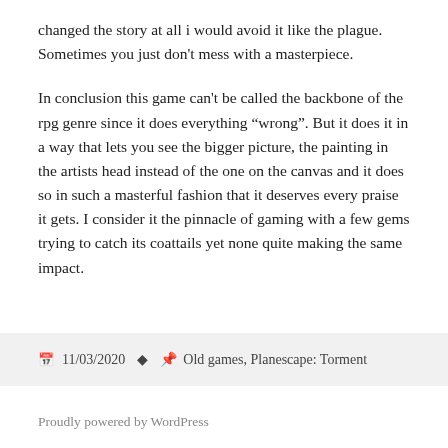changed the story at all i would avoid it like the plague. Sometimes you just don't mess with a masterpiece.
In conclusion this game can't be called the backbone of the rpg genre since it does everything “wrong”. But it does it in a way that lets you see the bigger picture, the painting in the artists head instead of the one on the canvas and it does so in such a masterful fashion that it deserves every praise it gets. I consider it the pinnacle of gaming with a few gems trying to catch its coattails yet none quite making the same impact.
11/03/2020  Old games, Planescape: Torment
Proudly powered by WordPress